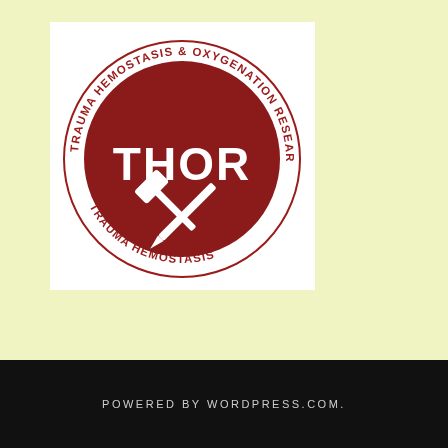[Figure (logo): THOR logo — circular stamp design in dark red/maroon. Outer ring reads 'TRAUMA HEMOSTASIS & OXYGENATION RESEARCH' around the circumference. Center filled circle contains 'THOR' in large white bold letters. Below 'THOR' text are two crossed tools (a hammer/mallet and a spike/nail) in white, giving a crossed-tools emblem. Distressed/aged stamp texture on the red circle.]
POWERED BY WORDPRESS.COM.